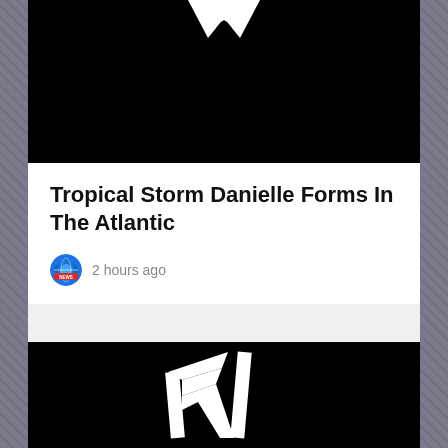[Figure (screenshot): Top black card with partial white logo/icon visible at top center on dark background]
Tropical Storm Danielle Forms In The Atlantic
2 hours ago
[Figure (logo): Black card with white stylized M/P1 logo on black background]